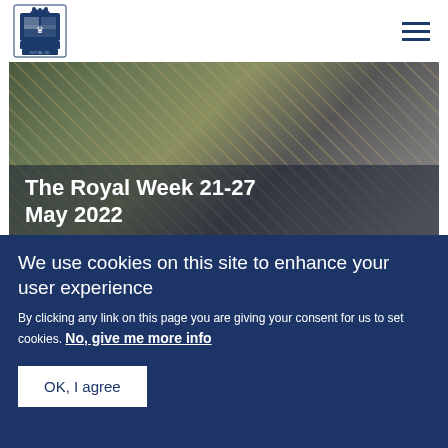[Figure (logo): Royal coat of arms / royal.uk logo in blue]
The Royal Week 21-27 May 2022
Published 27 May 2022
[Figure (photo): Photo of thatched roof or woven structure]
We use cookies on this site to enhance your user experience
By clicking any link on this page you are giving your consent for us to set cookies. No, give me more info
OK, I agree